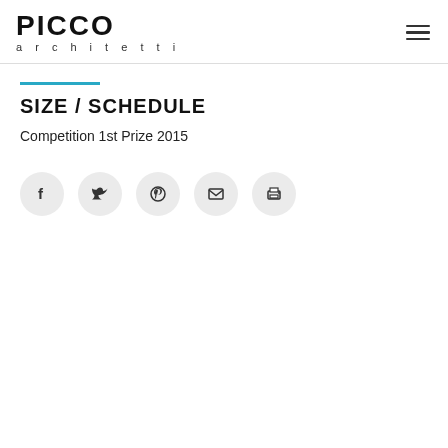PICCO architetti
SIZE / SCHEDULE
Competition 1st Prize 2015
[Figure (infographic): Social sharing icons in circular grey buttons: Facebook, Twitter, Pinterest, Email, Print]